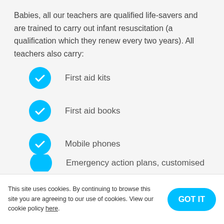Babies, all our teachers are qualified life-savers and are trained to carry out infant resuscitation (a qualification which they renew every two years). All teachers also carry:
First aid kits
First aid books
Mobile phones
Emergency action plans, customised…
This site uses cookies. By continuing to browse this site you are agreeing to our use of cookies. View our cookie policy here.